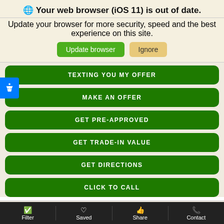🌐 Your web browser (iOS 11) is out of date.
Update your browser for more security, speed and the best experience on this site.
Update browser
Ignore
TEXTING YOU MY OFFER
MAKE AN OFFER
GET PRE-APPROVED
GET TRADE-IN VALUE
GET DIRECTIONS
CLICK TO CALL
[Figure (logo): FREE badge starburst logo in blue and white]
Filter | Saved | Share | Contact